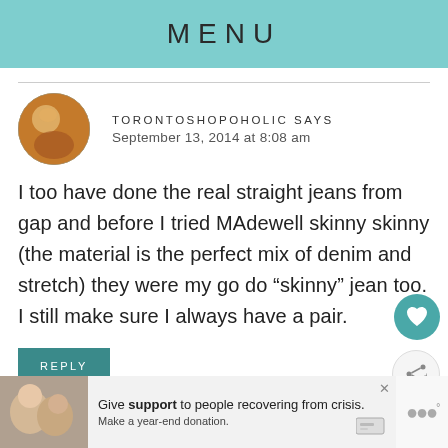MENU
TORONTOSHOPOHOLIC SAYS
September 13, 2014 at 8:08 am
I too have done the real straight jeans from gap and before I tried MAdewell skinny skinny (the material is the perfect mix of denim and stretch) they were my go do “skinny” jean too. I still make sure I always have a pair.
REPLY
[Figure (photo): Advertisement banner with image of people and text: Give support to people recovering from crisis. Make a year-end donation.]